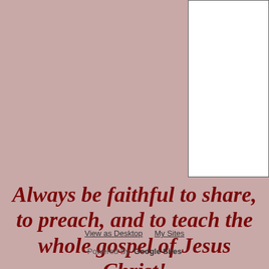[Figure (other): White rectangular panel in the upper right corner against a mauve/dusty rose background]
Always be faithful to share, to preach, and to teach the whole gospel of Jesus Christ!
View as Desktop   My Sites
Powered By  Google Sites